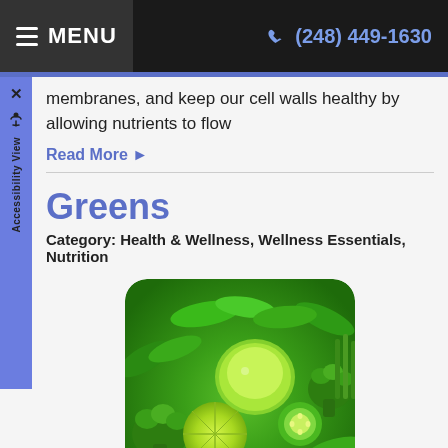MENU   (248) 449-1630
membranes, and keep our cell walls healthy by allowing nutrients to flow
Read More ▶
Greens
Category: Health & Wellness, Wellness Essentials, Nutrition
[Figure (photo): Photo of assorted green vegetables and fruits including broccoli, cucumber, apple, lime, and leafy greens arranged together]
Dietary essentials for wellness include getting the five to ten servings of vegetables and fruits per day that will provide you with antioxidants, fiber, vitamins, and minerals necessary for